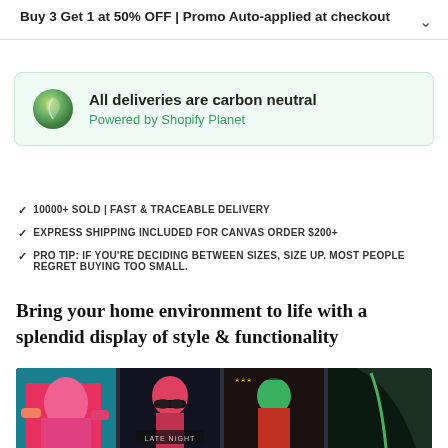Buy 3 Get 1 at 50% OFF | Promo Auto-applied at checkout
[Figure (infographic): Carbon neutral delivery badge: green leaf icon, text 'All deliveries are carbon neutral', subtext 'Powered by Shopify Planet']
10000+ SOLD | FAST & TRACEABLE DELIVERY
EXPRESS SHIPPING INCLUDED FOR CANVAS ORDER $200+
PRO TIP: IF YOU'RE DECIDING BETWEEN SIZES, SIZE UP. MOST PEOPLE REGRET BUYING TOO SMALL.
Bring your home environment to life with a splendid display of style & functionality
[Figure (photo): Gallery strip showing colorful art prints on dark background: pop art images including figures in pink, a woman with sunglasses labeled 'Late Night', and a green/red figure]